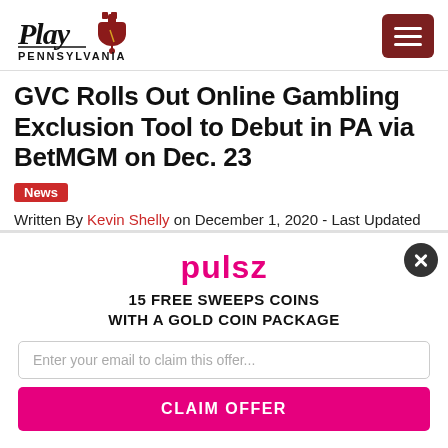Play Pennsylvania
GVC Rolls Out Online Gambling Exclusion Tool to Debut in PA via BetMGM on Dec. 23
News
Written By Kevin Shelly on December 1, 2020 - Last Updated on August 8, 2022
[Figure (photo): Dark photo strip showing coins/chips]
[Figure (infographic): Pulsz popup overlay offering 15 Free Sweeps Coins with a Gold Coin Package, with email input and Claim Offer button]